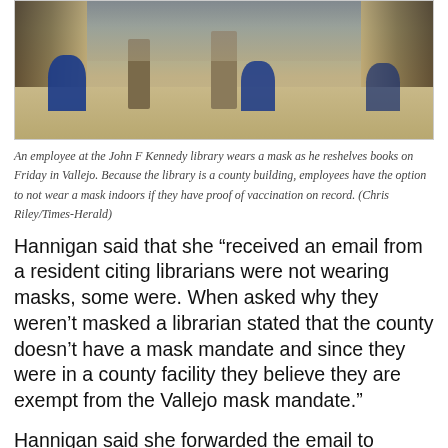[Figure (photo): Interior of John F Kennedy library showing bookshelves, pillars, and blue bins on a carpeted floor]
An employee at the John F Kennedy library wears a mask as he reshelves books on Friday in Vallejo. Because the library is a county building, employees have the option to not wear a mask indoors if they have proof of vaccination on record. (Chris Riley/Times-Herald)
Hannigan said that she “received an email from a resident citing librarians were not wearing masks, some were. When asked why they weren’t masked a librarian stated that the county doesn’t have a mask mandate and since they were in a county facility they believe they are exempt from the Vallejo mask mandate.”
Hannigan said she forwarded the email to Olawski.
“The City (Vallejo) owns the buildings and contracts with the County for library services,” Olawski said late Friday. “Per the operating agreement, the libraries operate as branches of the